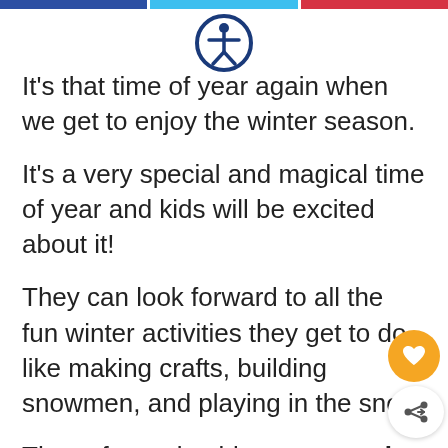[Figure (other): Top navigation bar with three colored segments: blue, cyan, red]
[Figure (other): Accessibility icon — person in circle, dark blue outline]
It's that time of year again when we get to enjoy the winter season.
It's a very special and magical time of year and kids will be excited about it!
They can look forward to all the fun winter activities they get to do like making crafts, building snowmen, and playing in the snow.
These free printable snowy owl worksheets are perfect for kids who want to learn abou
what makes these winter months so great!